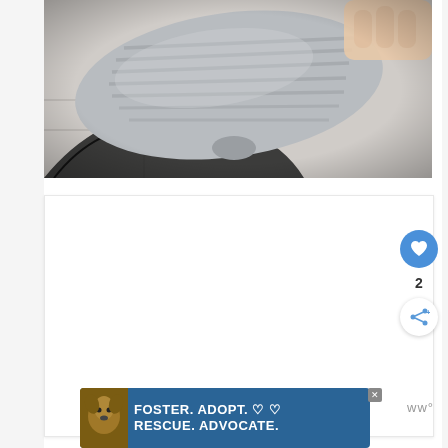[Figure (photo): Close-up photo of a gray microfiber mop pad or cleaning cloth being held up, showing textured striped surface. The item appears rounded/oval shaped. Background shows floor tiles and dark robot vacuum base. Photo has dark vignette edges.]
[Figure (screenshot): White content card area (empty/loading) with blue circular heart/like button on the right side, a count of 2 below it, and a circular share button with share icon. These appear to be social interaction UI elements from a webpage.]
[Figure (photo): Advertisement banner with teal/dark blue background showing a dog (pit bull type) on the left and bold white text reading 'FOSTER. ADOPT. ♡ ♡ RESCUE. ADVOCATE.' with a close X button. A 'ww°' logo appears to the right of the banner.]